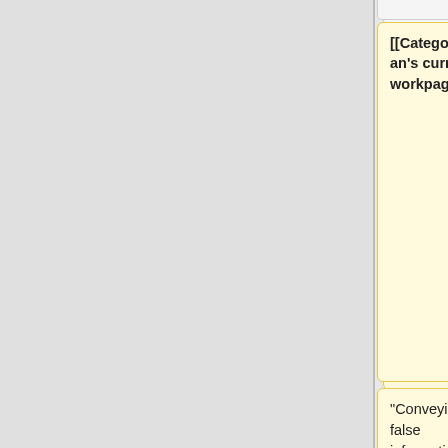[Figure (infographic): Wikipedia diff-style comparison interface showing two columns of content cards. Left column (yellow background) shows removed content including '[[Category:Staffan's current workpage]]' and a quote about conveying false information with 'behavior' highlighted. Right column (blue background) shows added content with the same quote but 'behaviors' highlighted. Below are grey empty cards and white cards with text 'Players have a possibility to convey false information to other players in'.]